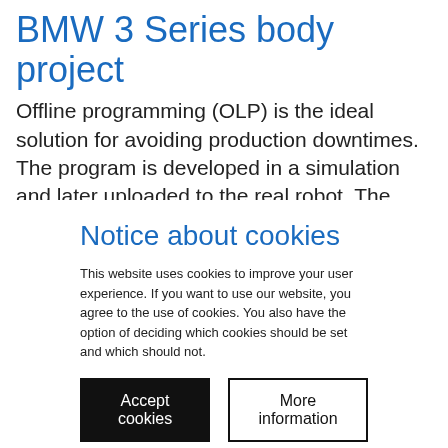BMW 3 Series body project
Offline programming (OLP) is the ideal solution for avoiding production downtimes. The program is developed in a simulation and later uploaded to the real robot. The focus continues to remain on the optimum running of the processes.
Notice about cookies
This website uses cookies to improve your user experience. If you want to use our website, you agree to the use of cookies. You also have the option of deciding which cookies should be set and which should not.
Accept cookies
More information
imprint   privacy